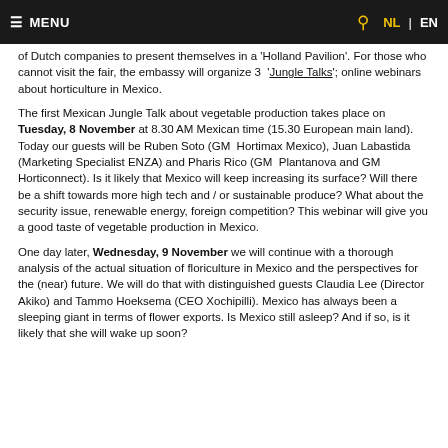≡ MENU   🔍  NL | EN
of Dutch companies to present themselves in a 'Holland Pavilion'. For those who cannot visit the fair, the embassy will organize 3  'Jungle Talks'; online webinars about horticulture in Mexico.
The first Mexican Jungle Talk about vegetable production takes place on Tuesday, 8 November at 8.30 AM Mexican time (15.30 European main land). Today our guests will be Ruben Soto (GM  Hortimax Mexico), Juan Labastida (Marketing Specialist ENZA) and Pharis Rico (GM  Plantanova and GM Horticonnect). Is it likely that Mexico will keep increasing its surface? Will there be a shift towards more high tech and / or sustainable produce? What about the security issue, renewable energy, foreign competition? This webinar will give you a good taste of vegetable production in Mexico.
One day later, Wednesday, 9 November we will continue with a thorough analysis of the actual situation of floriculture in Mexico and the perspectives for the (near) future. We will do that with distinguished guests Claudia Lee (Director Akiko) and Tammo Hoeksema (CEO Xochipilli). Mexico has always been a sleeping giant in terms of flower exports. Is Mexico still asleep? And if so, is it likely that she will wake up soon?